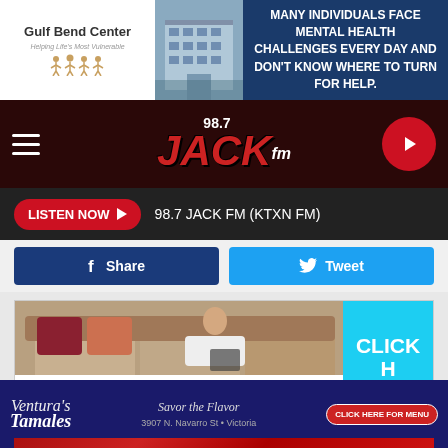[Figure (screenshot): Gulf Bend Center advertisement banner with building photo and text about mental health challenges]
[Figure (logo): 98.7 Jack FM radio station navigation bar with hamburger menu and play button]
LISTEN NOW ▶  98.7 JACK FM (KTXN FM)
f Share
Tweet
[Figure (screenshot): Dave Lennox Premier Dealer Lennox advertisement with couch image and Click Here to Learn More panel]
[Figure (photo): Red textured background advertisement]
[Figure (screenshot): Ventura's Tamales advertisement - Savor the Flavor - 3907 N. Navarro St. Victoria - Click Here for Menu]